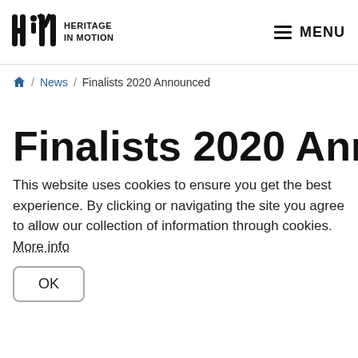Heritage in Motion | MENU
Home / News / Finalists 2020 Announced
Finalists 2020 Announced
This website uses cookies to ensure you get the best experience. By clicking or navigating the site you agree to allow our collection of information through cookies. More info
OK